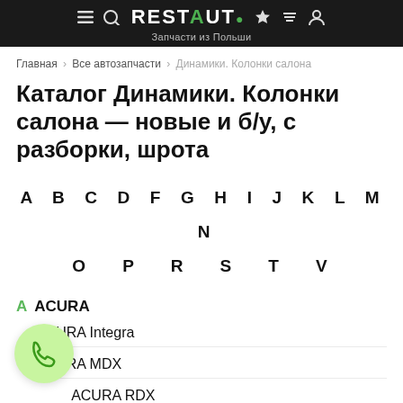RESTAUT — Запчасти из Польши
Главная > Все автозапчасти > Динамики. Колонки салона
Каталог Динамики. Колонки салона — новые и б/у, с разборки, шрота
A B C D F G H I J K L M N O P R S T V
A ACURA
ACURA Integra
ACURA MDX
ACURA RDX
ACURA RSX